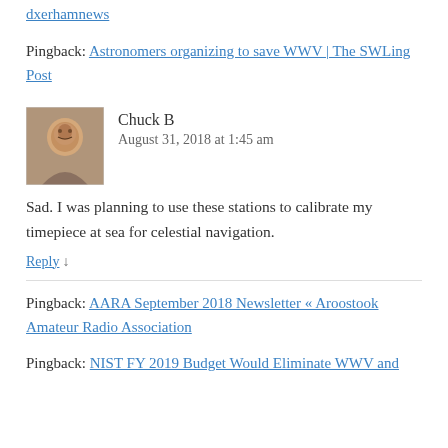dxerhamnews
Pingback: Astronomers organizing to save WWV | The SWLing Post
Chuck B
August 31, 2018 at 1:45 am
Sad. I was planning to use these stations to calibrate my timepiece at sea for celestial navigation.
Reply ↓
Pingback: AARA September 2018 Newsletter « Aroostook Amateur Radio Association
Pingback: NIST FY 2019 Budget Would Eliminate WWV and